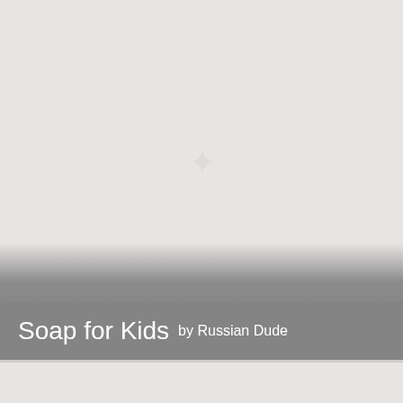[Figure (illustration): Light gray background cover page with a faint watermark/logo in the center, a gradient band transitioning from light gray to medium gray, and a title bar at the bottom.]
Soap for Kids by Russian Dude